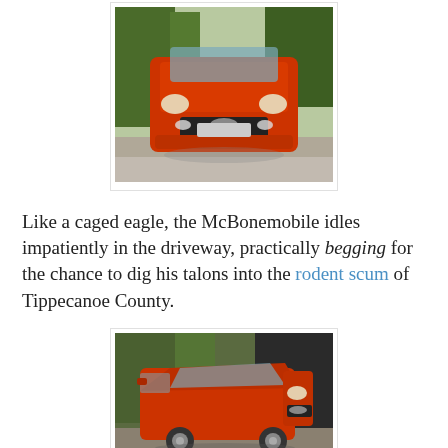[Figure (photo): Front view of a red/orange Kia SUV (McBonemobile) parked in a driveway, photographed head-on with trees visible in the background.]
Like a caged eagle, the McBonemobile idles impatiently in the driveway, practically begging for the chance to dig his talons into the rodent scum of Tippecanoe County.
[Figure (photo): Three-quarter front view of a red/orange Kia minivan/wagon (McBonemobile) parked near a garage, with trees and a house visible in the background.]